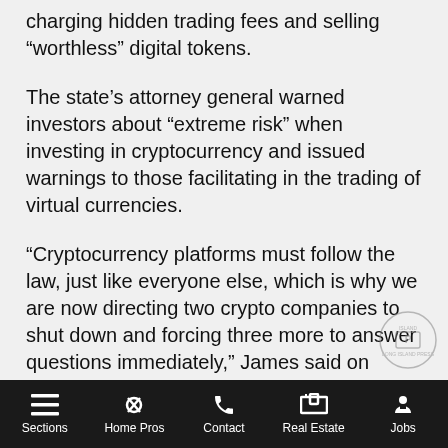charging hidden trading fees and selling “worthless” digital tokens.
The state’s attorney general warned investors about “extreme risk” when investing in cryptocurrency and issued warnings to those facilitating in the trading of virtual currencies.
“Cryptocurrency platforms must follow the law, just like everyone else, which is why we are now directing two crypto companies to shut down and forcing three more to answer questions immediately,” James said on Monday.
(Reporting by Noor Zainab Hussain in Bengaluru; Editing by Shounak Dasgupta)
Sign up for Long Island Press’ email newsletters here
Sections | Home Pros | Contact | Real Estate | Jobs